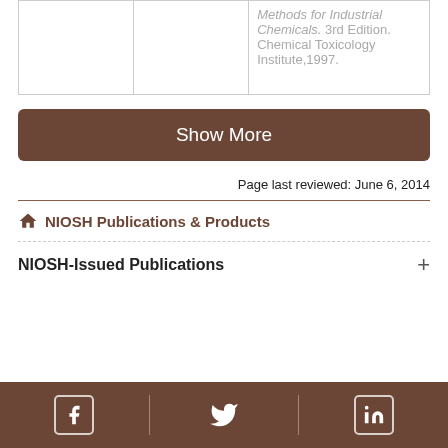|  |  | Methods for Industrial Chemicals. 3rd Edition. Chemical Toxicology Institute,1997. |
Show More
Page last reviewed: June 6, 2014
NIOSH Publications & Products
NIOSH-Issued Publications
[Figure (other): Footer bar with Facebook, Twitter, and LinkedIn social media icons in white on brown background]